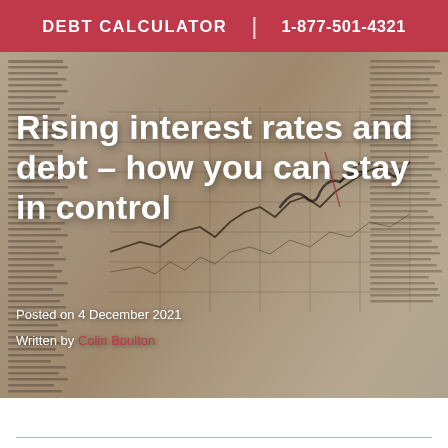DEBT CALCULATOR | 1-877-501-4321
[Figure (photo): Background image of financial newspaper pages and a printed stock chart with handwritten annotations, showing years 2017-2021 on the x-axis.]
Rising interest rates and debt – how you can stay in control
Posted on 4 December 2021
Written by Colin Boulton